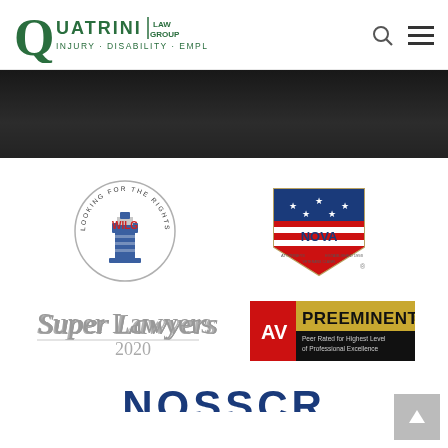[Figure (logo): Quatrini Law Group logo with text: QUATRINI LAW GROUP, Injury · Disability · Employment]
[Figure (other): Dark banner/hero image area, nearly black]
[Figure (logo): WILG lighthouse circular badge logo]
[Figure (logo): NOVA diamond-shaped badge logo with American flag design]
[Figure (logo): Super Lawyers 2020 badge]
[Figure (logo): AV Preeminent - Peer Rated for Highest Level of Professional Excellence badge]
[Figure (logo): NOSSCR text logo, partially visible at bottom]